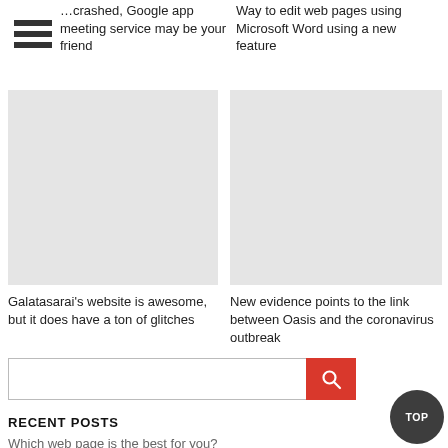[Figure (other): Hamburger menu icon — three horizontal bars]
...crashed, Google app meeting service may be your friend
Way to edit web pages using Microsoft Word using a new feature
[Figure (photo): Left article image placeholder]
[Figure (photo): Right article image placeholder]
Galatasarai's website is awesome, but it does have a ton of glitches
New evidence points to the link between Oasis and the coronavirus outbreak
[Figure (other): Search bar with red search button and magnifying glass icon]
RECENT POSTS
Which web page is the best for you?